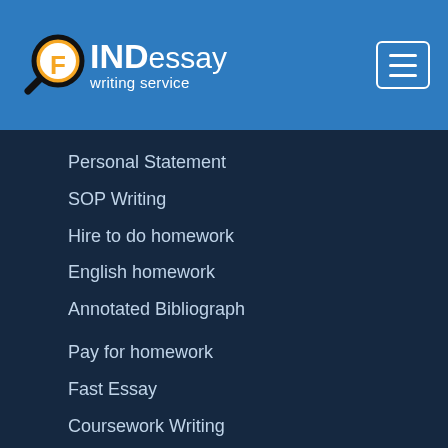[Figure (logo): FINDessay writing service logo with magnifying glass icon and orange F letter]
Personal Statement
SOP Writing
Hire to do homework
English homework
Annotated Bibliograph
Pay for homework
Fast Essay
Coursework Writing
Academic Writing
MBA Essay
Average GPA